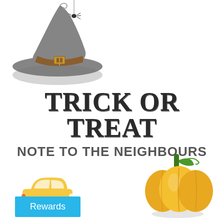[Figure (illustration): Cartoon witch hat with spider hanging from the tip, brown buckle band, dark gray color]
TRICK OR TREAT
NOTE TO THE NEIGHBOURS
[Figure (illustration): Yellow cartoon car icon with black wheels and white circular windows]
[Figure (illustration): Yellow cartoon pumpkin with green stem and leaf, shadow underneath]
Rewards